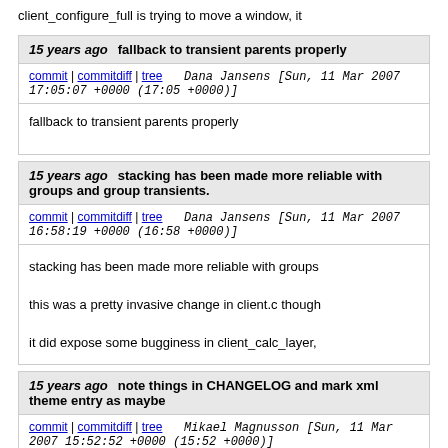client_configure_full is trying to move a window, it
15 years ago   fallback to transient parents properly
commit | commitdiff | tree   Dana Jansens [Sun, 11 Mar 2007 17:05:07 +0000 (17:05 +0000)]
fallback to transient parents properly
15 years ago   stacking has been made more reliable with groups and group transients.
commit | commitdiff | tree   Dana Jansens [Sun, 11 Mar 2007 16:58:19 +0000 (16:58 +0000)]
stacking has been made more reliable with groups
this was a pretty invasive change in client.c though
it did expose some bugginess in client_calc_layer,
15 years ago   note things in CHANGELOG and mark xml theme entry as maybe
commit | commitdiff | tree   Mikael Magnusson [Sun, 11 Mar 2007 15:52:52 +0000 (15:52 +0000)]
note things in CHANGELOG and mark xml theme